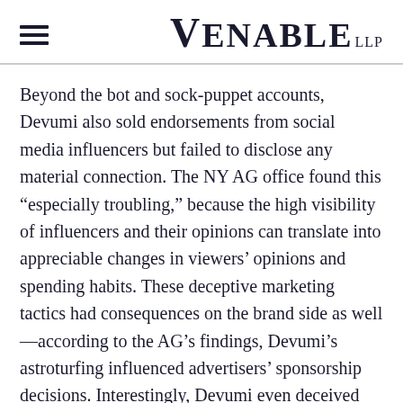VENABLE LLP
Beyond the bot and sock-puppet accounts, Devumi also sold endorsements from social media influencers but failed to disclose any material connection. The NY AG office found this “especially troubling,” because the high visibility of influencers and their opinions can translate into appreciable changes in viewers’ opinions and spending habits. These deceptive marketing tactics had consequences on the brand side as well—according to the AG’s findings, Devumi’s astroturfing influenced advertisers’ sponsorship decisions. Interestingly, Devumi even deceived some of its own customers, who mistakenly believed they were purchasing authentic endorsements.